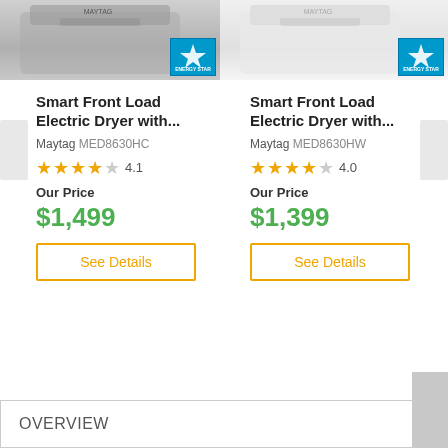[Figure (photo): Maytag Smart Front Load Electric Dryer MED8630HC - metallic/charcoal color, top view, with Energy Star badge]
[Figure (photo): Maytag Smart Front Load Electric Dryer MED8630HW - white color, top view, with Energy Star badge]
Smart Front Load Electric Dryer with...
Maytag MED8630HC
4.1 stars
Our Price $1,499
Smart Front Load Electric Dryer with...
Maytag MED8630HW
4.0 stars
Our Price $1,399
OVERVIEW